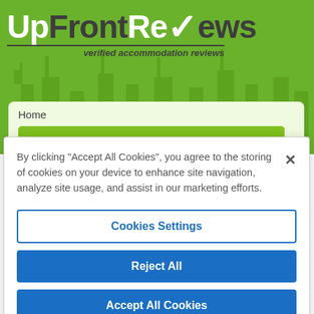[Figure (screenshot): UpFrontReviews website header with green background and city silhouette. Logo reads 'UpFrontReviews' with checkmark replacing 'v', tagline 'verified accommodation reviews'. Below is a light green content area with 'Home' breadcrumb and a green tab.]
By clicking "Accept All Cookies", you agree to the storing of cookies on your device to enhance site navigation, analyze site usage, and assist in our marketing efforts.
Cookies Settings
Reject All
Accept All Cookies